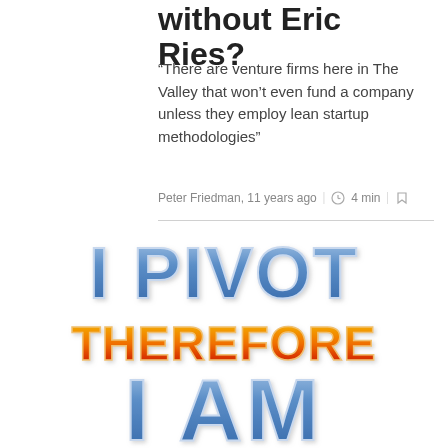without Eric Ries?
“There are venture firms here in The Valley that won’t even fund a company unless they employ lean startup methodologies”
Peter Friedman, 11 years ago | 4 min
[Figure (illustration): Large bold text graphic reading 'I PIVOT THEREFORE I AM' in a cartoon bubble-letter style. 'I PIVOT' in blue gradient letters, 'THEREFORE' in red-to-orange gradient letters, 'I AM' in blue gradient letters.]